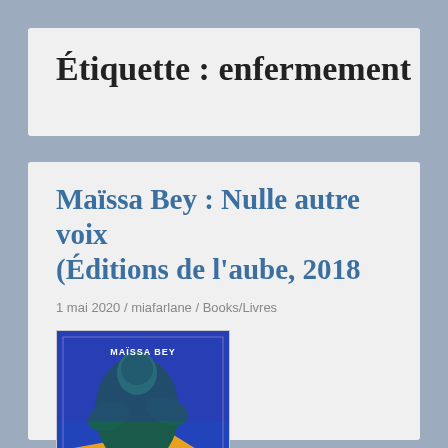Étiquette : enfermement
Maïssa Bey : Nulle autre voix (Éditions de l'aube, 2018
1 mai 2020 / miafarlane / Books/Livres
[Figure (photo): Book cover of 'Nulle autre voix' by Maïssa Bey, showing a dark figure against a blue and orange background. Text on cover reads: MAÏSSA BEY, Nulle autre voix (partially visible)]